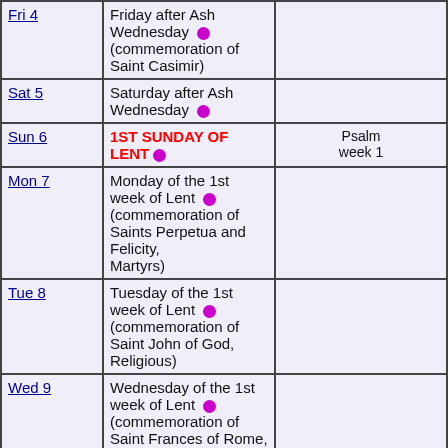| Day | Description | Psalm |
| --- | --- | --- |
| Fri 4 | Friday after Ash Wednesday (commemoration of Saint Casimir) |  |
| Sat 5 | Saturday after Ash Wednesday |  |
| Sun 6 | 1ST SUNDAY OF LENT | Psalm week 1 |
| Mon 7 | Monday of the 1st week of Lent (commemoration of Saints Perpetua and Felicity, Martyrs) |  |
| Tue 8 | Tuesday of the 1st week of Lent (commemoration of Saint John of God, Religious) |  |
| Wed 9 | Wednesday of the 1st week of Lent (commemoration of Saint Frances of Rome, Religious) |  |
| Thu 10 | Thursday of the 1st week of Lent |  |
| Fri 11 | Friday of the 1st week of Lent |  |
| Sat 12 | Saturday of the 1st week of Lent |  |
| Sun 13 | 2ND SUNDAY OF LENT | Psalm week 2 |
| Mon 14 | Monday of the 2nd week of Lent |  |
| Tue 15 | Tuesday of the 2nd week of Lent |  |
| Wed 16 | Wednesday of the 2nd week of Lent |  |